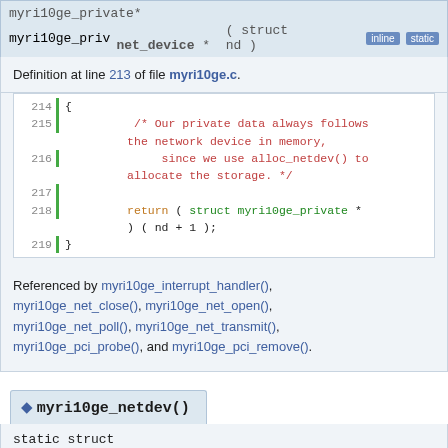myri10ge_private*
myri10ge_priv ( struct net_device * nd ) [inline] [static]
Definition at line 213 of file myri10ge.c.
[Figure (screenshot): Code block showing lines 214-219 of myri10ge.c]
Referenced by myri10ge_interrupt_handler(), myri10ge_net_close(), myri10ge_net_open(), myri10ge_net_poll(), myri10ge_net_transmit(), myri10ge_pci_probe(), and myri10ge_pci_remove().
myri10ge_netdev()
static struct